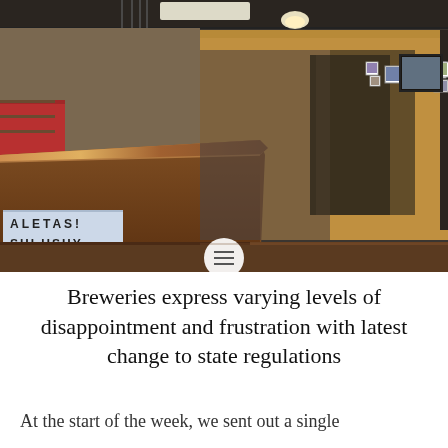[Figure (photo): Interior of a brewery taproom showing a long wooden bar counter on the left, booth seating with plywood backs in the center and right, photos hung on a yellow-ochre wall in the background, industrial ceiling with hanging pendant lights, and a sign reading 'PALETAS! SLUSHY' visible at lower left.]
Breweries express varying levels of disappointment and frustration with latest change to state regulations
At the start of the week, we sent out a single